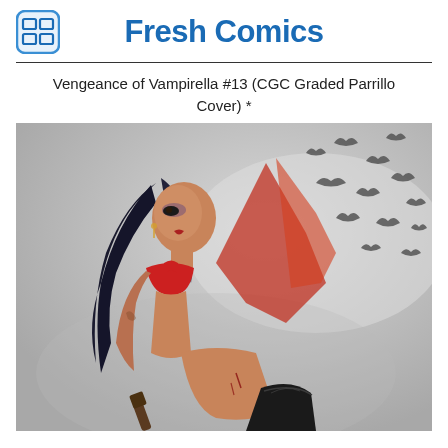Fresh Comics
Vengeance of Vampirella #13 (CGC Graded Parrillo Cover) *
[Figure (illustration): Comic book cover art showing Vampirella, a dark-haired woman in a red bikini outfit and black boot, holding a weapon, with bats flying in the background. Painted style by Parrillo.]